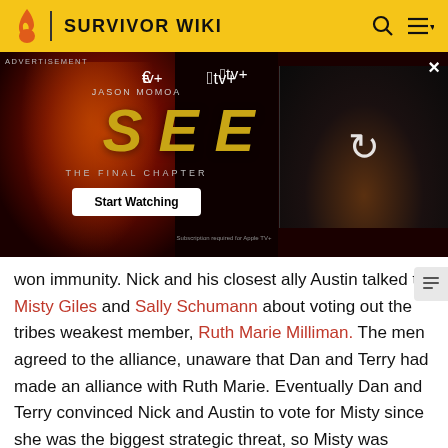SURVIVOR WIKI
[Figure (screenshot): Apple TV+ advertisement banner for 'SEE: The Final Chapter' featuring Jason Momoa, with a Start Watching button and a video thumbnail with a refresh/loading icon]
won immunity. Nick and his closest ally Austin talked to Misty Giles and Sally Schumann about voting out the tribes weakest member, Ruth Marie Milliman. The men agreed to the alliance, unaware that Dan and Terry had made an alliance with Ruth Marie. Eventually Dan and Terry convinced Nick and Austin to vote for Misty since she was the biggest strategic threat, so Misty was voted out at La Mina's first Tribal Council. La Mina lost the next Reward Challenge followed by the next Immunity